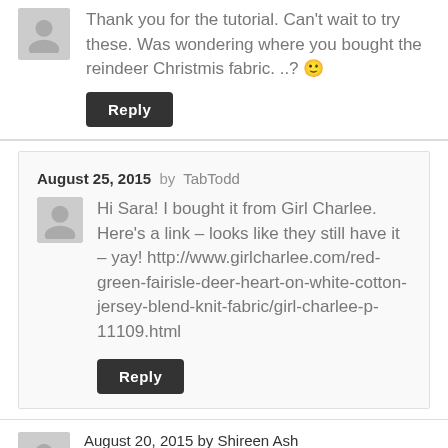Thank you for the tutorial. Can't wait to try these. Was wondering where you bought the reindeer Christmis fabric. ..? 🙂
Reply
August 25, 2015 by TabTodd
Hi Sara! I bought it from Girl Charlee. Here's a link – looks like they still have it – yay! http://www.girlcharlee.com/red-green-fairisle-deer-heart-on-white-cotton-jersey-blend-knit-fabric/girl-charlee-p-11109.html
Reply
August 20, 2015 by Shireen Ash
Hi,
Am not able to see any pattern link to download